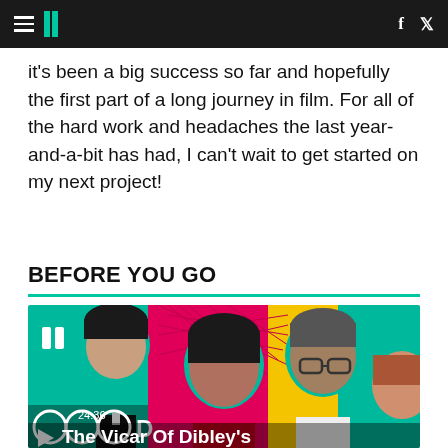HuffPost navigation header with hamburger menu, logo, and social icons (f, twitter)
it's been a big success so far and hopefully the first part of a long journey in film. For all of the hard work and headaches the last year-and-a-bit has had, I can't wait to get started on my next project!
BEFORE YOU GO
[Figure (photo): Promotional image for The Vicar Of Dibley's featuring several cast members including a woman in clerical collar, a younger woman, a man with glasses, and another man, set against a colourful geometric background. A video play button and timestamp 24:36 are overlaid.]